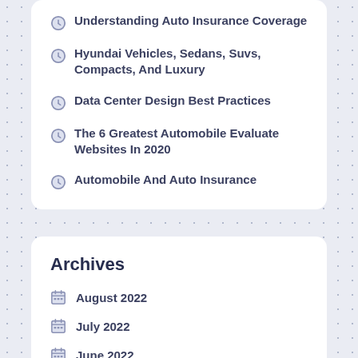Understanding Auto Insurance Coverage
Hyundai Vehicles, Sedans, Suvs, Compacts, And Luxury
Data Center Design Best Practices
The 6 Greatest Automobile Evaluate Websites In 2020
Automobile And Auto Insurance
Archives
August 2022
July 2022
June 2022